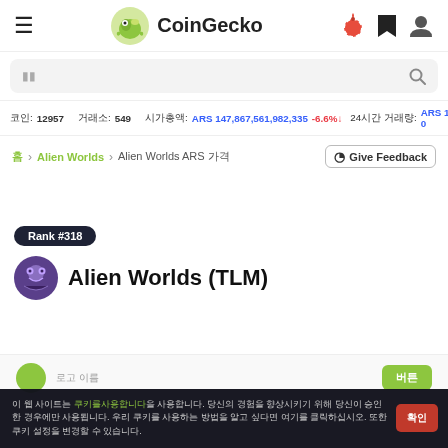CoinGecko
코인: 12957   거래소: 549   시가총액: ARS 147,867,561,982,335 -6.6%↓   24시간 거래량: ARS 12,525,80
홈 > Alien Worlds > Alien Worlds ARS 가격   Give Feedback
Rank #318
Alien Worlds (TLM)
이 웹 사이트는 쿠키를 사용합니다. 당신의 경험을 향상시키기 위해 당신이 승인한 경우에만 사용됩니다. 우리는 쿠키를 사용하는 방법을 알고 싶다면 여기를 클릭하십시오.